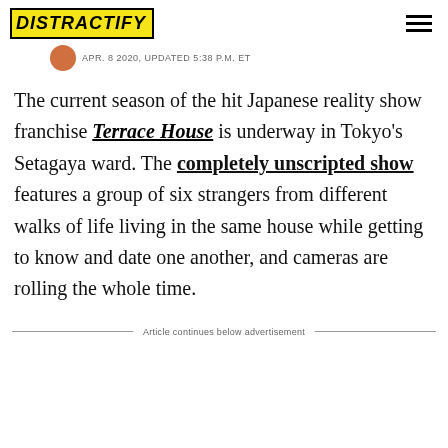DISTRACTIFY
APR. 8 2020, UPDATED 5:38 P.M. ET
The current season of the hit Japanese reality show franchise Terrace House is underway in Tokyo's Setagaya ward. The completely unscripted show features a group of six strangers from different walks of life living in the same house while getting to know and date one another, and cameras are rolling the whole time.
Article continues below advertisement